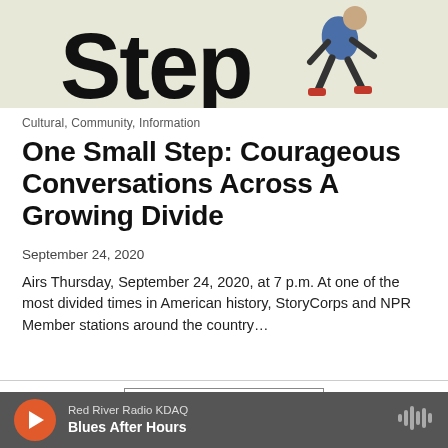[Figure (illustration): Partial header image showing the word 'Step' in large bold text alongside a cartoon illustration of a person walking, with a beige/cream background. Only the lower portion of the image is visible.]
Cultural, Community, Information
One Small Step: Courageous Conversations Across A Growing Divide
September 24, 2020
Airs Thursday, September 24, 2020, at 7 p.m. At one of the most divided times in American history, StoryCorps and NPR Member stations around the country…
[Figure (screenshot): Load More button, rectangular with border]
[Figure (screenshot): Audio player bar at the bottom: Red River Radio KDAQ, Blues After Hours, with play button and waveform icon]